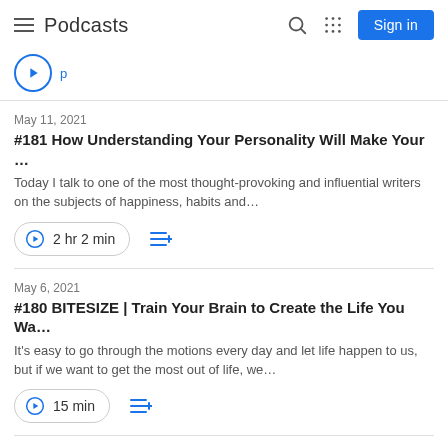Podcasts
May 11, 2021
#181 How Understanding Your Personality Will Make Your …
Today I talk to one of the most thought-provoking and influential writers on the subjects of happiness, habits and…
2 hr 2 min
May 6, 2021
#180 BITESIZE | Train Your Brain to Create the Life You Wa…
It's easy to go through the motions every day and let life happen to us, but if we want to get the most out of life, we…
15 min
May 4, 2021
#179 Why Emotions Matter More Than You Think with Pr